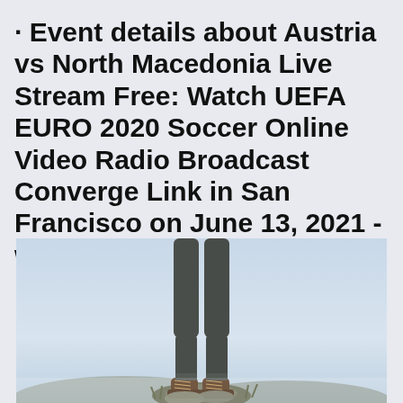· Event details about Austria vs North Macedonia Live Stream Free: Watch UEFA EURO 2020 Soccer Online Video Radio Broadcast Converge Link in San Francisco on June 13, 2021 - watch, listen, photos
[Figure (photo): A person standing on rocks with legs and boots visible from the waist down wearing dark jeans and hiking boots, photographed against a misty light blue-grey sky background]